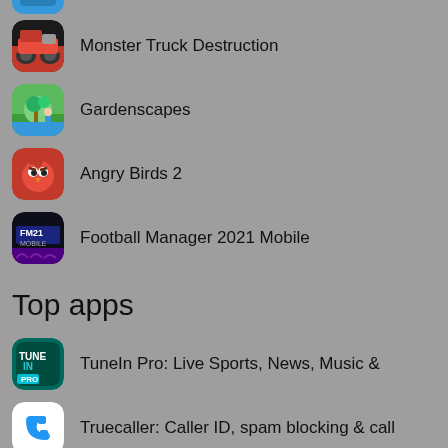[Figure (screenshot): Partial app icon at top of page (cropped)]
Monster Truck Destruction
Gardenscapes
Angry Birds 2
Football Manager 2021 Mobile
Top apps
TuneIn Pro: Live Sports, News, Music &
Truecaller: Caller ID, spam blocking & call
Opera browser with free VPN